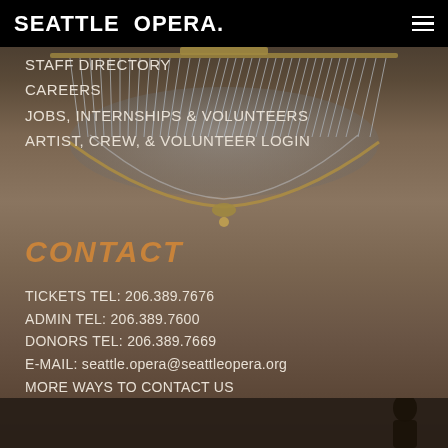SEATTLE OPERA.
STAFF DIRECTORY
CAREERS
JOBS, INTERNSHIPS & VOLUNTEERS
ARTIST, CREW, & VOLUNTEER LOGIN
CONTACT
TICKETS TEL: 206.389.7676
ADMIN TEL: 206.389.7600
DONORS TEL: 206.389.7669
E-MAIL: seattle.opera@seattleopera.org
MORE WAYS TO CONTACT US